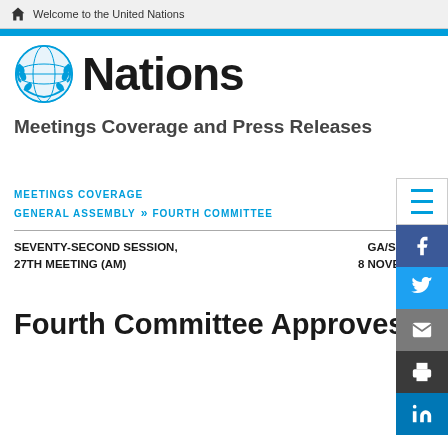Welcome to the United Nations
[Figure (logo): United Nations emblem logo (blue globe with laurel wreath) followed by the word 'Nations' in bold black text]
Meetings Coverage and Press Releases
MEETINGS COVERAGE
GENERAL ASSEMBLY >> FOURTH COMMITTEE
SEVENTY-SECOND SESSION, 27TH MEETING (AM)
GA/SPD/656
8 NOVEMBER 2017
Fourth Committee Approves